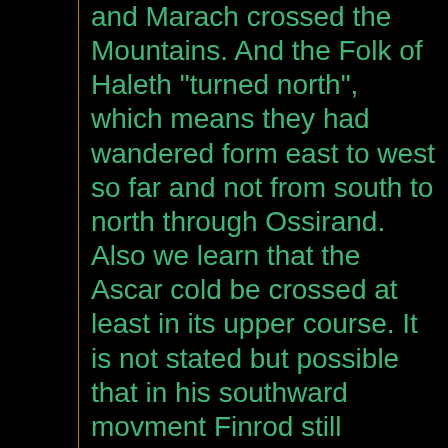and Marach crossed the Mountains. And the Folk of Haleth "turned north", which means they had wandered form east to west so far and not from south to north through Ossirand. Also we learn that the Ascar cold be crossed at least in its upper course. It is not stated but possible that in his southward movment Finrod still followed the Dwarf-road. A posible southward movment of the Edain after crossing the Mountian at the pass about Dolmed is possible but does not seem to be likley: The landscape of southern Thargelion seemd to be very similar to that of northern Ossiriand (as is to be expected), thus I can't find any good reason why all the Edain if they had used a pass that led them into Thargelion would have crossed Ascar. It is much more likley that they used a pass that led them down into Ossirand. It is trure